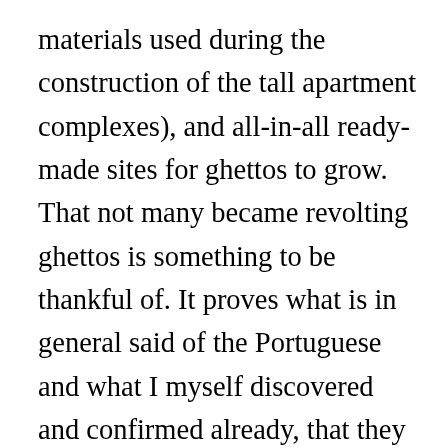materials used during the construction of the tall apartment complexes), and all-in-all ready-made sites for ghettos to grow. That not many became revolting ghettos is something to be thankful of. It proves what is in general said of the Portuguese and what I myself discovered and confirmed already, that they are a sweet, sunny people, forward-looking, and capable of maintaining a joyful life. Amazing for a country of which, in 1960, two travelers wrote: “Why